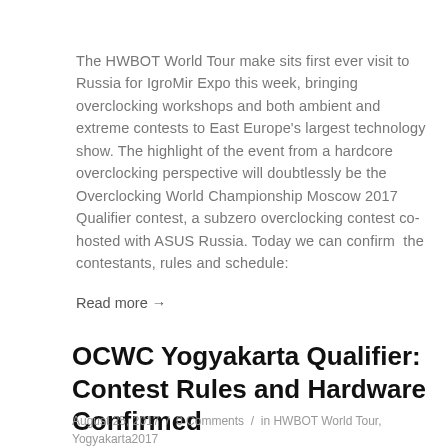The HWBOT World Tour make sits first ever visit to Russia for IgroMir Expo this week, bringing overclocking workshops and both ambient and extreme contests to East Europe's largest technology show. The highlight of the event from a hardcore overclocking perspective will doubtlessly be the Overclocking World Championship Moscow 2017 Qualifier contest, a subzero overclocking contest co-hosted with ASUS Russia. Today we can confirm the contestants, rules and schedule:
Read more →
OCWC Yogyakarta Qualifier: Contest Rules and Hardware Confirmed
August 25, 2017  /  0 Comments  /  in HWBOT World Tour, Yogyakarta2017  /  by Stewart Haston